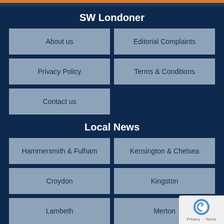SW Londoner
About us
Editorial Complaints
Privacy Policy
Terms & Conditions
Contact us
Local News
Hammersmith & Fulham
Kensington & Chelsea
Croydon
Kingston
Lambeth
Merton